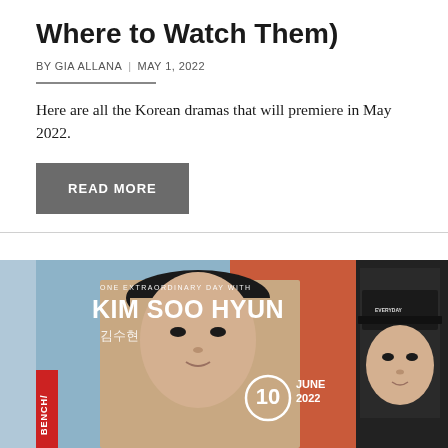Where to Watch Them)
BY GIA ALLANA | MAY 1, 2022
Here are all the Korean dramas that will premiere in May 2022.
READ MORE
[Figure (photo): Promotional image for 'One Extraordinary Day with Kim Soo Hyun' event — BENCH/ brand, June 10 2022, showing Kim Soo Hyun in two poses: one close-up portrait with Korean text '김수현', and one wearing an EVERYDAY cap, against a blue/orange background.]